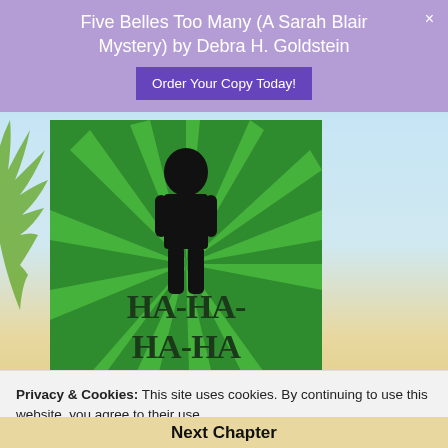Five Belles Too Many (A Sarah Blair Mystery) by Debra H. Goldstein
Order Your Copy Today!
[Figure (illustration): Book cover for Ha-Ha-Ha-Ha: A Triple Threat Mystery - Book 5, showing dark silhouette figure against green sunburst background]
BUY | PREVIEW
Ha-Ha-Ha-Ha
Privacy & Cookies: This site uses cookies. By continuing to use this website, you agree to their use.
To find out more, including how to control cookies, see here: Cookie Policy
Close and accept
Next Chapter